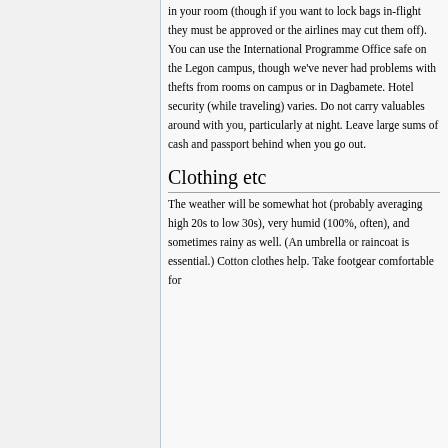in your room (though if you want to lock bags in-flight they must be approved or the airlines may cut them off). You can use the International Programme Office safe on the Legon campus, though we've never had problems with thefts from rooms on campus or in Dagbamete. Hotel security (while traveling) varies. Do not carry valuables around with you, particularly at night. Leave large sums of cash and passport behind when you go out.
Clothing etc
The weather will be somewhat hot (probably averaging high 20s to low 30s), very humid (100%, often), and sometimes rainy as well. (An umbrella or raincoat is essential.) Cotton clothes help. Take footgear comfortable for